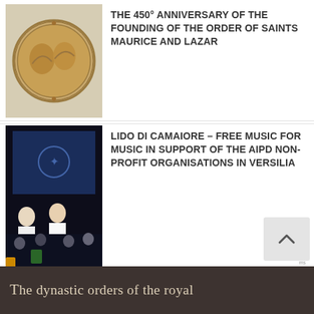[Figure (photo): Bronze medal with two figures in relief, commemorating the 450th anniversary of the Order of Saints Maurice and Lazarus]
THE 450° ANNIVERSARY OF THE FOUNDING OF THE ORDER OF SAINTS MAURICE AND LAZAR
[Figure (photo): Two men on stage with musicians in background, performing at a charity event with a blue screen backdrop]
LIDO DI CAMAIORE – FREE MUSIC FOR MUSIC IN SUPPORT OF THE AIPD NON-PROFIT ORGANISATIONS IN VERSILIA
[Figure (photo): Group of clergy and participants in red and white robes in a church interior for the annual ceremony]
ANNUAL CEREMONY OF THE COMO VICARIATE IN THE LITURGICAL MEMORIAL OF ST LAZARUS
THE DYNASTIC ORDERS OF THE ROYAL